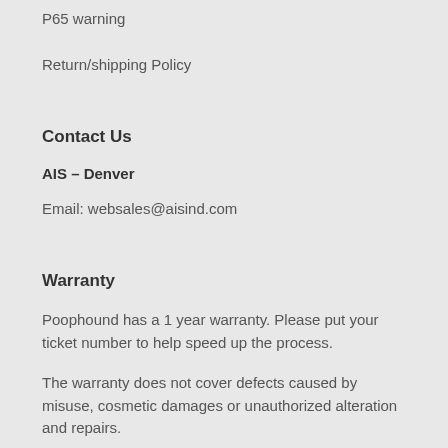P65 warning
Return/shipping Policy
Contact Us
AIS – Denver
Email: websales@aisind.com
Warranty
Poophound has a 1 year warranty. Please put your ticket number to help speed up the process.
The warranty does not cover defects caused by misuse, cosmetic damages or unauthorized alteration and repairs.